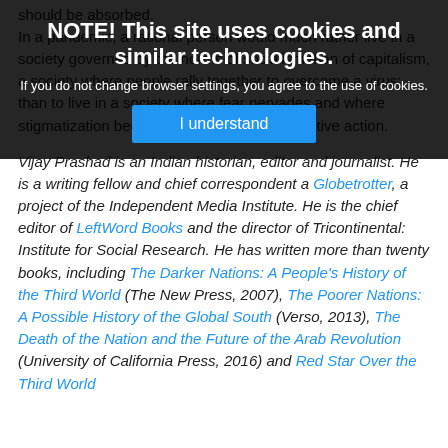should be absorbed.
In a pandemic, a rational person would much rather live in a society governed by the norms of socialism than of capitalism, a society where people rally together to overcome a virus; than to live in a society where fear pervades and where stigmatization becomes the antidote to collective action.
NOTE! This site uses cookies and similar technologies.
If you do not change browser settings, you agree to the use of cookies.
I understand
Vijay Prashad is an Indian historian, editor and journalist. He is a writing fellow and chief correspondent a Globetrotter, a project of the Independent Media Institute. He is the chief editor of LeftWord Books and the director of Tricontinental: Institute for Social Research. He has written more than twenty books, including The Darker Nations: A People's History of the Third World (The New Press, 2007), The Poorer Nations: A Possible History of the Global South (Verso, 2013), The Death of the Nation and the Future of the Arab Revolution (University of California Press, 2016) and Red Star Over the Third World